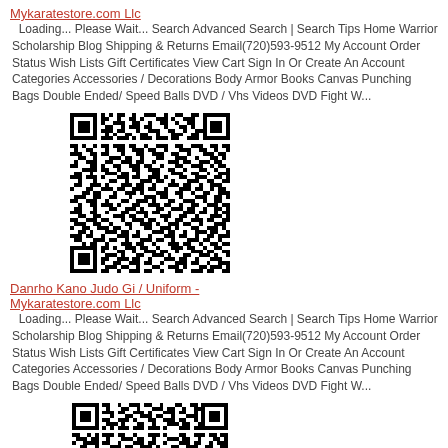Mykaratestore.com Llc
  Loading... Please Wait... Search Advanced Search | Search Tips Home Warrior Scholarship Blog Shipping & Returns Email(720)593-9512 My Account Order Status Wish Lists Gift Certificates View Cart Sign In Or Create An Account Categories Accessories / Decorations Body Armor Books Canvas Punching Bags Double Ended/ Speed Balls DVD / Vhs Videos DVD Fight W...
[Figure (other): QR code linking to Mykaratestore.com Llc]
Danrho Kano Judo Gi / Uniform - Mykaratestore.com Llc
  Loading... Please Wait... Search Advanced Search | Search Tips Home Warrior Scholarship Blog Shipping & Returns Email(720)593-9512 My Account Order Status Wish Lists Gift Certificates View Cart Sign In Or Create An Account Categories Accessories / Decorations Body Armor Books Canvas Punching Bags Double Ended/ Speed Balls DVD / Vhs Videos DVD Fight W...
[Figure (other): QR code linking to Danrho Kano Judo Gi / Uniform - Mykaratestore.com Llc]